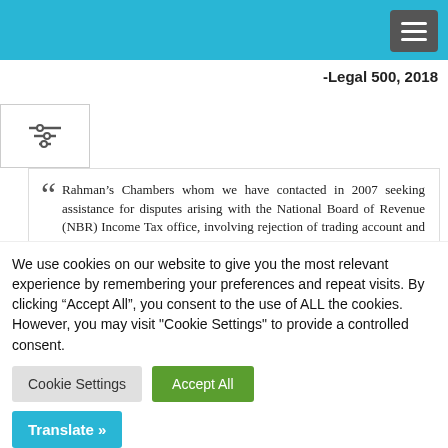-Legal 500, 2018
Rahman's Chambers whom we have contacted in 2007 seeking assistance for disputes arising with the National Board of Revenue (NBR) Income Tax office, involving rejection of trading account and imposition of estimated profit based on assumption... successfully handled the income tax reference case pending in the
We use cookies on our website to give you the most relevant experience by remembering your preferences and repeat visits. By clicking “Accept All”, you consent to the use of ALL the cookies. However, you may visit "Cookie Settings" to provide a controlled consent.
Cookie Settings | Accept All
Translate »